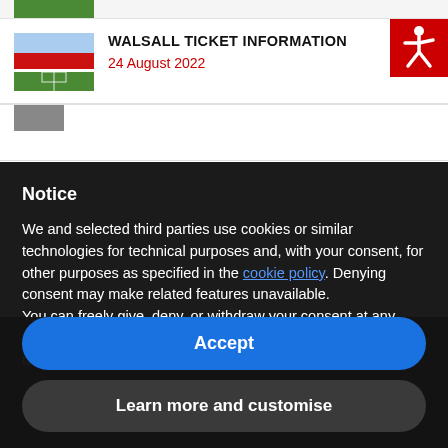[Figure (photo): Partial top green thumbnail strip of a football stadium]
[Figure (photo): Thumbnail of Walsall football stadium exterior/pitch with red stands]
WALSALL TICKET INFORMATION
24 August 2022
[Figure (illustration): Red accessibility/wheelchair icon badge in top right corner]
[Figure (photo): Partial bottom thumbnail strip]
Notice
We and selected third parties use cookies or similar technologies for technical purposes and, with your consent, for other purposes as specified in the cookie policy. Denying consent may make related features unavailable.
You can freely give, deny, or withdraw your consent at any time. Use the "Accept" button to consent to the use of such technologies.
Accept
Learn more and customise